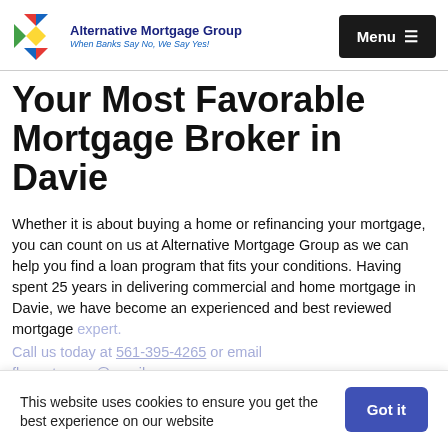Alternative Mortgage Group — When Banks Say No, We Say Yes! | Menu
Your Most Favorable Mortgage Broker in Davie
Whether it is about buying a home or refinancing your mortgage, you can count on us at Alternative Mortgage Group as we can help you find a loan program that fits your conditions. Having spent 25 years in delivering commercial and home mortgage in Davie, we have become an experienced and best reviewed mortgage expert.
Call us today at 561-395-4265 or email flamortgages@gmail.com
This website uses cookies to ensure you get the best experience on our website